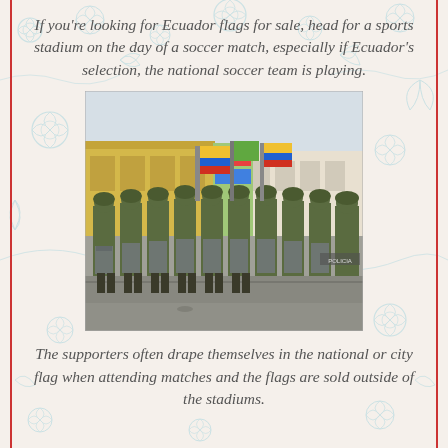If you're looking for Ecuador flags for sale, head for a sports stadium on the day of a soccer match, especially if Ecuador's selection, the national soccer team is playing.
[Figure (photo): A line of soldiers in green camouflage uniforms and helmets holding riot shields, standing in formation on a street in Ecuador. Behind them, colorful colonial-era buildings and people holding Ecuador national flags (yellow, blue, red) are visible.]
The supporters often drape themselves in the national or city flag when attending matches and the flags are sold outside of the stadiums.